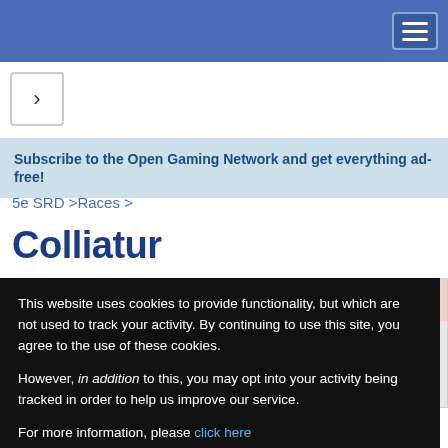Navigation bar with hamburger menu
[Figure (screenshot): Arrow/chevron navigation button]
Subscribe to the Open Gaming Network and get everything ad-free!
5e SRD >Races >
Colliatur
[Figure (screenshot): Partially visible advertisement/promo box with text CTS FOR and .com!]
This website uses cookies to provide functionality, but which are not used to track your activity. By continuing to use this site, you agree to the use of these cookies.

However, in addition to this, you may opt into your activity being tracked in order to help us improve our service.

For more information, please click here
OK    No, thank you
These children of the colloid are including, kind and